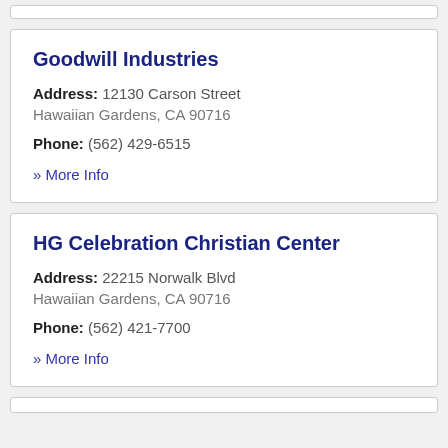Goodwill Industries
Address: 12130 Carson Street Hawaiian Gardens, CA 90716
Phone: (562) 429-6515
» More Info
HG Celebration Christian Center
Address: 22215 Norwalk Blvd Hawaiian Gardens, CA 90716
Phone: (562) 421-7700
» More Info